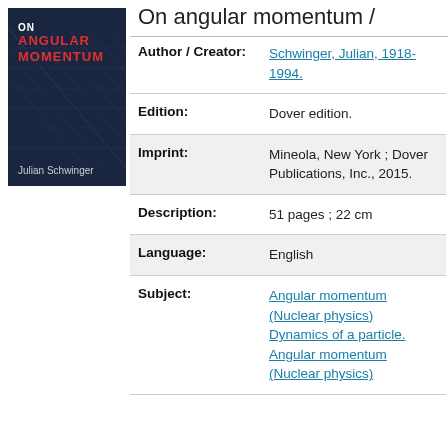On angular momentum /
[Figure (photo): Book cover of 'On Angular Momentum' by Julian Schwinger, dark blue background with red text and grid pattern]
| Field | Value |
| --- | --- |
| Author / Creator: | Schwinger, Julian, 1918-1994. |
| Edition: | Dover edition. |
| Imprint: | Mineola, New York : Dover Publications, Inc., 2015. |
| Description: | 51 pages ; 22 cm |
| Language: | English |
| Subject: | Angular momentum (Nuclear physics) Dynamics of a particle. Angular momentum (Nuclear physics) |